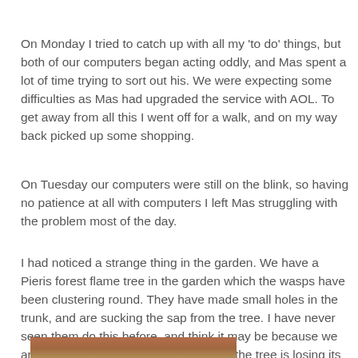On Monday I tried to catch up with all my 'to do' things, but both of our computers began acting oddly, and Mas spent a lot of time trying to sort out his. We were expecting some difficulties as Mas had upgraded the service with AOL. To get away from all this I went off for a walk, and on my way back picked up some shopping.
On Tuesday our computers were still on the blink, so having no patience at all with computers I left Mas struggling with the problem most of the day.
I had noticed a strange thing in the garden. We have a Pieris forest flame tree in the garden which the wasps have been clustering round. They have made small holes in the trunk, and are sucking the sap from the tree. I have never seen them do this before, and think it may be because we are having such a hot dry summer, but the tree is losing its leaves fast.
[Figure (photo): Partial photo of a Pieris forest flame tree trunk, visible at the bottom of the page, with warm brown and reddish tones.]